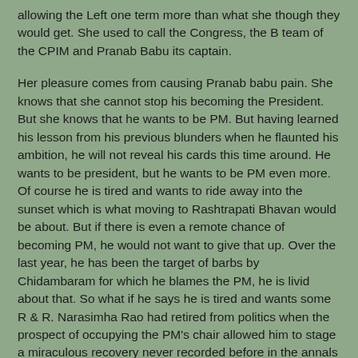allowing the Left one term more than what she though they would get. She used to call the Congress, the B team of the CPIM and Pranab Babu its captain.
Her pleasure comes from causing Pranab babu pain. She knows that she cannot stop his becoming the President. But she knows that he wants to be PM. But having learned his lesson from his previous blunders when he flaunted his ambition, he will not reveal his cards this time around. He wants to be president, but he wants to be PM even more. Of course he is tired and wants to ride away into the sunset which is what moving to Rashtrapati Bhavan would be about. But if there is even a remote chance of becoming PM, he would not want to give that up. Over the last year, he has been the target of barbs by Chidambaram for which he blames the PM, he is livid about that. So what if he says he is tired and wants some R & R. Narasimha Rao had retired from politics when the prospect of occupying the PM's chair allowed him to stage a miraculous recovery never recorded before in the annals of medical science.
Mamata knows this and is playing with him. If she can